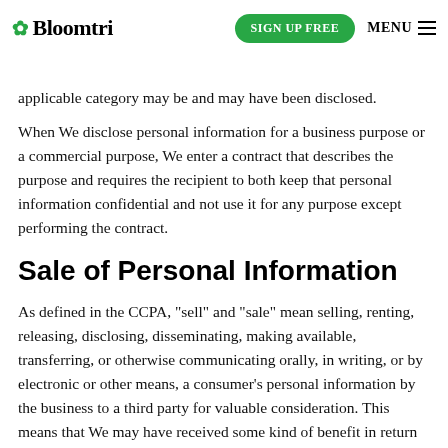Bloomberg | SIGN UP FREE | MENU
disclosed, but reflects our good faith belief to the best of that some of that information may be disclosed, but reflects our good faith belief to the best of applicable category may be and may have been disclosed.
When We disclose personal information for a business purpose or a commercial purpose, We enter a contract that describes the purpose and requires the recipient to both keep that personal information confidential and not use it for any purpose except performing the contract.
Sale of Personal Information
As defined in the CCPA, "sell" and "sale" mean selling, renting, releasing, disclosing, disseminating, making available, transferring, or otherwise communicating orally, in writing, or by electronic or other means, a consumer's personal information by the business to a third party for valuable consideration. This means that We may have received some kind of benefit in return for sharing personal information, but not necessarily a monetary benefit.
Please note that the categories listed below are those defined in the CCPA. This does not mean that all examples of that category of personal information were in fact sold.